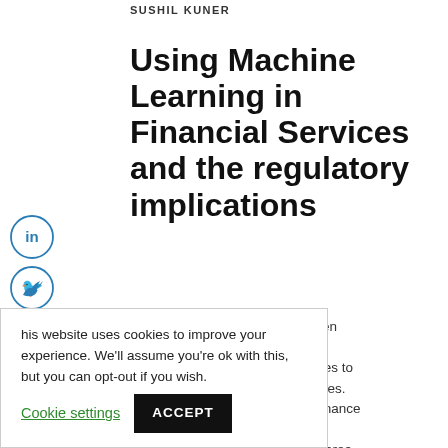SUSHIL KUNER
Using Machine Learning in Financial Services and the regulatory implications
[Figure (infographic): Social media sharing icons: LinkedIn, Twitter, Facebook, Email, Print — arranged vertically on the left side]
Financial services firms have been [obscured by cookie banner] ...tificial ...rategies to ...iciencies. ...governance ...Conduct Authority ( FCA ) is active in this area,
This website uses cookies to improve your experience. We'll assume you're ok with this, but you can opt-out if you wish. Cookie settings ACCEPT